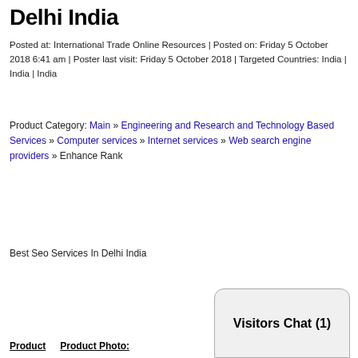Delhi India
Posted at: International Trade Online Resources | Posted on: Friday 5 October 2018 6:41 am | Poster last visit: Friday 5 October 2018 | Targeted Countries: India | India | India
Product Category: Main » Engineering and Research and Technology Based Services » Computer services » Internet services » Web search engine providers » Enhance Rank
Best Seo Services In Delhi India
Product   Product Photo:
Visitors Chat (1)